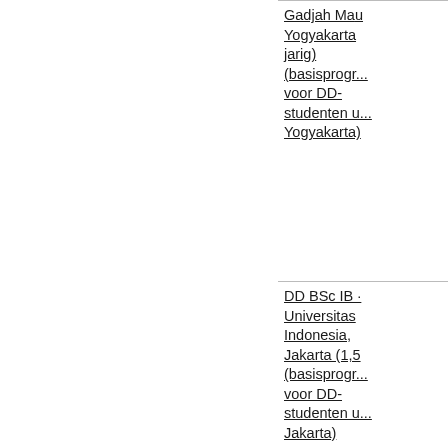Gadjah Mada Yogyakarta jarig) (basisprogr... voor DD-studenten u... Yogyakarta)
DD BSc IB - Universitas Indonesia, Jakarta (1,5 (basisprogr... voor DD-studenten u... Jakarta)
DD BSc IB - Universitas Indonesia, Jakarta (2-ja (basisprogr... voor DD-studenten u... Jakarta)